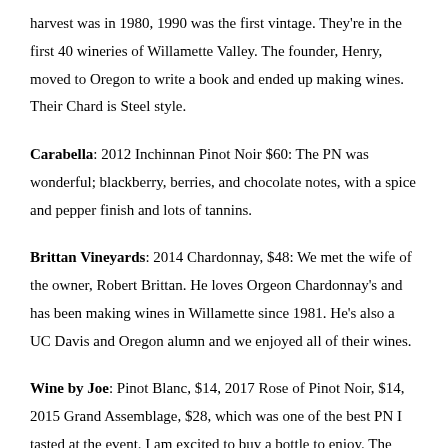harvest was in 1980, 1990 was the first vintage. They're in the first 40 wineries of Willamette Valley. The founder, Henry, moved to Oregon to write a book and ended up making wines. Their Chard is Steel style.
Carabella: 2012 Inchinnan Pinot Noir $60: The PN was wonderful; blackberry, berries, and chocolate notes, with a spice and pepper finish and lots of tannins.
Brittan Vineyards: 2014 Chardonnay, $48: We met the wife of the owner, Robert Brittan. He loves Orgeon Chardonnay's and has been making wines in Willamette since 1981. He's also a UC Davis and Oregon alumn and we enjoyed all of their wines.
Wine by Joe: Pinot Blanc, $14, 2017 Rose of Pinot Noir, $14, 2015 Grand Assemblage, $28, which was one of the best PN I tasted at the event. I am excited to buy a bottle to enjoy. The Grand Assemblage was [Back to top] wine (they have two vineyards, across from each other), and was much better